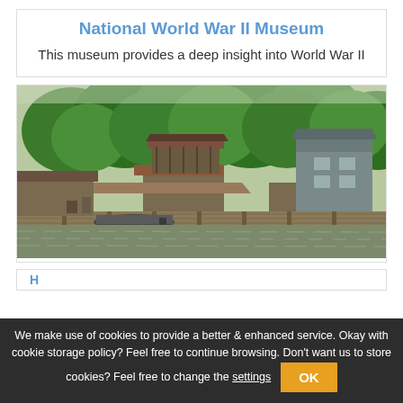National World War II Museum
This museum provides a deep insight into World War II
[Figure (photo): Bayou waterfront scene with stilted buildings, wooden docks, boats on murky water, and dense green trees in the background]
We make use of cookies to provide a better & enhanced service. Okay with cookie storage policy? Feel free to continue browsing. Don't want us to store cookies? Feel free to change the settings  OK